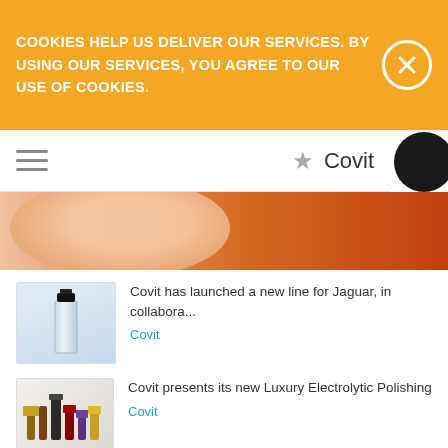COOKIES HELP US DELIVER OUR SERVICES. BY USING OUR SERVICES, YOU AGREE TO OUR USE OF COOKIES.
[Figure (screenshot): Navigation bar with hamburger menu icon on the left and star icon plus 'Covit' brand name on the right]
[Figure (photo): Hero image strip showing skin/body in warm orange gradient tones]
Covit has launched a new line for Jaguar, in collabora...
Covit
Covit presents its new Luxury Electrolytic Polishing
Covit
[Figure (infographic): Advertisement banner for COPCO CHINA Refillable Airless bottle with logo and product images on light blue background]